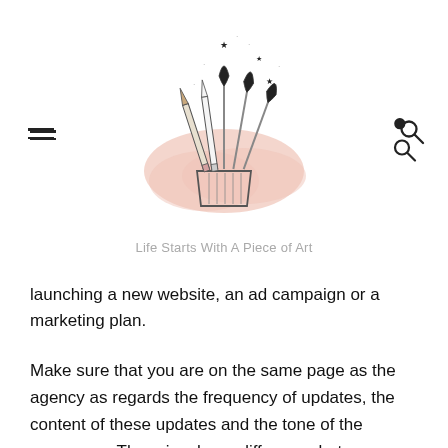[Figure (illustration): Blog logo illustration: a hand-drawn cup/pot holding pencils and paintbrushes with small stars scattered around, over a pink watercolor blob background. Below the image is the tagline 'Life Starts With A Piece of Art'.]
launching a new website, an ad campaign or a marketing plan.
Make sure that you are on the same page as the agency as regards the frequency of updates, the content of these updates and the tone of the messages. There is a huge difference between sending out messages every few days and updating